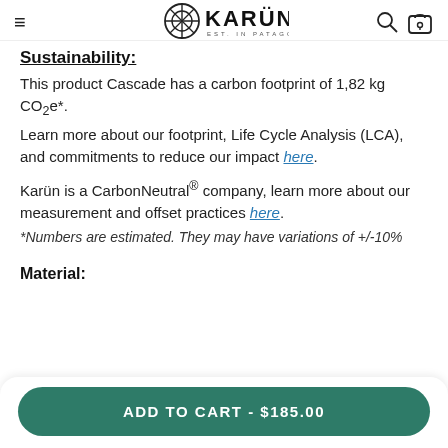KARÜN EST. IN PATAGONIA
Sustainability:
This product Cascade has a carbon footprint of 1,82 kg CO2e*.
Learn more about our footprint, Life Cycle Analysis (LCA), and commitments to reduce our impact here.
Karün is a CarbonNeutral® company, learn more about our measurement and offset practices here.
*Numbers are estimated. They may have variations of +/-10%
Material:
ADD TO CART - $185.00